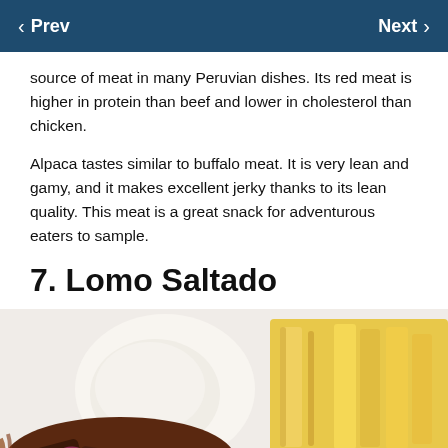Prev   Next
source of meat in many Peruvian dishes. Its red meat is higher in protein than beef and lower in cholesterol than chicken.
Alpaca tastes similar to buffalo meat. It is very lean and gamy, and it makes excellent jerky thanks to its lean quality. This meat is a great snack for adventurous eaters to sample.
7. Lomo Saltado
[Figure (photo): A plate of Lomo Saltado, a Peruvian stir-fry dish featuring sautéed beef strips with onions, tomatoes, and peppers, served with french fries and a mound of white rice.]
Chat with an Agent